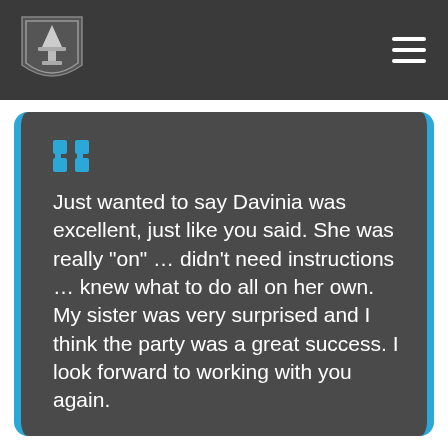[Figure (logo): Shield-shaped logo with a lamp/torch icon on dark background, website navigation header with hamburger menu icon]
Just wanted to say Davinia was excellent, just like you said. She was really "on" … didn't need instructions … knew what to do all on her own. My sister was very surprised and I think the party was a great success. I look forward to working with you again.

Thank you

Adriana